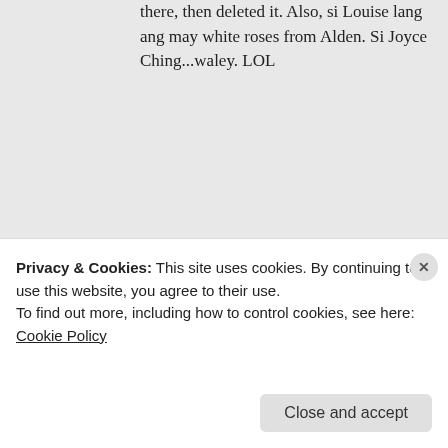there, then deleted it. Also, si Louise lang ang may white roses from Alden. Si Joyce Ching...waley. LOL
★ Like
REPLY
[Figure (illustration): Pixel avatar icon for Concerned Citizen commenter, purple geometric pattern]
Concerned Citizen said: February 15, 2016 at 6:44 am
Privacy & Cookies: This site uses cookies. By continuing to use this website, you agree to their use. To find out more, including how to control cookies, see here: Cookie Policy
Close and accept